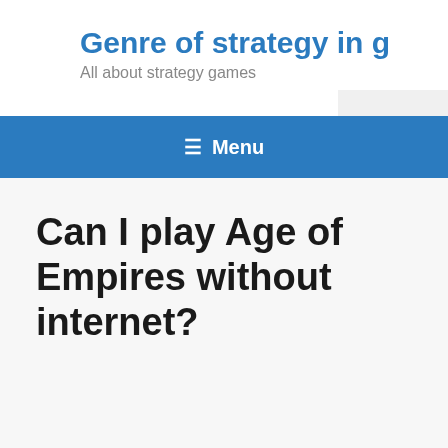Genre of strategy in g
All about strategy games
Can I play Age of Empires without internet?